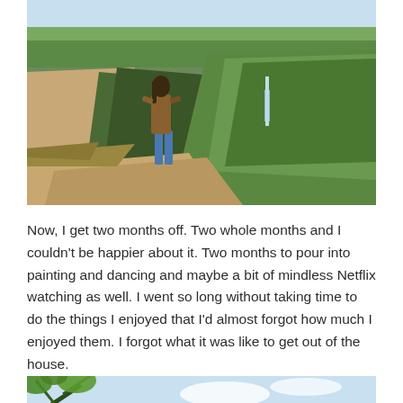[Figure (photo): A person with long hair wearing a brown jacket and blue jeans stands on a rock ledge overlooking a large canyon with green vegetation and a waterfall visible in the background under a partly cloudy sky.]
Now, I get two months off. Two whole months and I couldn't be happier about it. Two months to pour into painting and dancing and maybe a bit of mindless Netflix watching as well. I went so long without taking time to do the things I enjoyed that I'd almost forgot how much I enjoyed them. I forgot what it was like to get out of the house.
[Figure (photo): Partial view of a outdoor scene with tree branches and blue sky visible at the bottom of the page.]